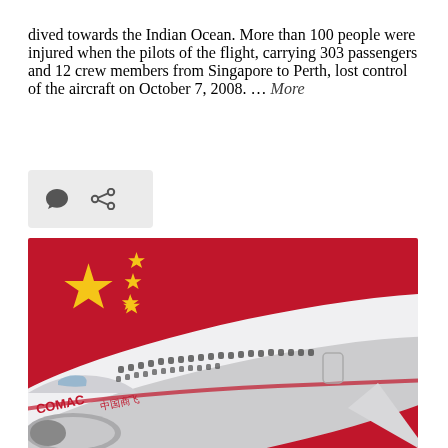dived towards the Indian Ocean. More than 100 people were injured when the pilots of the flight, carrying 303 passengers and 12 crew members from Singapore to Perth, lost control of the aircraft on October 7, 2008. … More
[Figure (other): Icon bar with speech bubble icon and share/link icon on light gray background]
[Figure (photo): Close-up photo of a COMAC aircraft fuselage with circular windows and red livery text, with a Chinese flag (red with yellow stars) visible in the background]